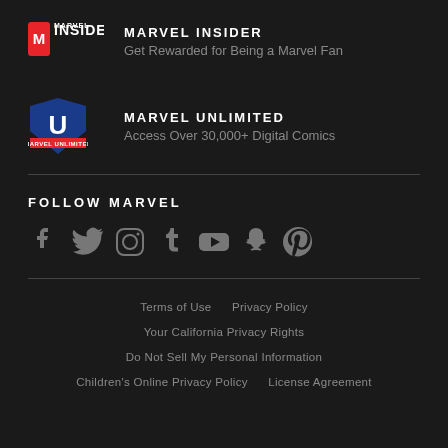[Figure (logo): Marvel Insider logo — white INSIDER wordmark with M shield]
MARVEL INSIDER
Get Rewarded for Being a Marvel Fan
[Figure (logo): Marvel Unlimited logo — blue/red U shield with MARVEL UNLIMITED text]
MARVEL UNLIMITED
Access Over 30,000+ Digital Comics
FOLLOW MARVEL
[Figure (infographic): Social media icons: Facebook, Twitter, Instagram, Tumblr, YouTube, Snapchat, Pinterest — all in grey]
Terms of Use   Privacy Policy   Your California Privacy Rights   Do Not Sell My Personal Information   Children's Online Privacy Policy   License Agreement